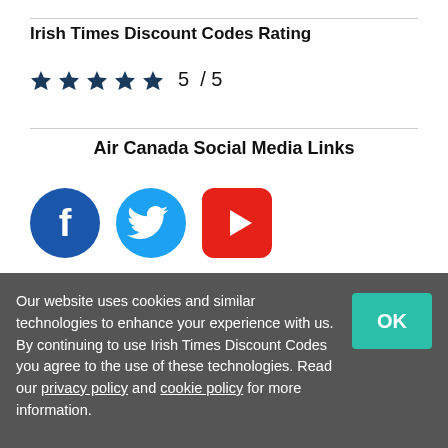Irish Times Discount Codes Rating
★★★★★ 5 / 5
Air Canada Social Media Links
[Figure (illustration): Social media icons: Facebook (dark blue circle with f), Twitter (light blue circle with bird), YouTube (red rounded square with play button)]
🕐 Last Updated
Offers for Air Canada were last updated: 4th August
Our website uses cookies and similar technologies to enhance your experience with us. By continuing to use Irish Times Discount Codes you agree to the use of these technologies. Read our privacy policy and cookie policy for more information.